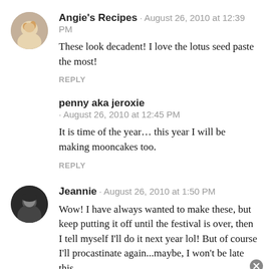Angie's Recipes · August 26, 2010 at 12:39 PM
These look decadent! I love the lotus seed paste the most!
REPLY
penny aka jeroxie · August 26, 2010 at 12:45 PM
It is time of the year... this year I will be making mooncakes too.
REPLY
Jeannie · August 26, 2010 at 1:50 PM
Wow! I have always wanted to make these, but keep putting it off until the festival is over, then I tell myself I'll do it next year lol! But of course I'll procastinate again...maybe, I won't be late this